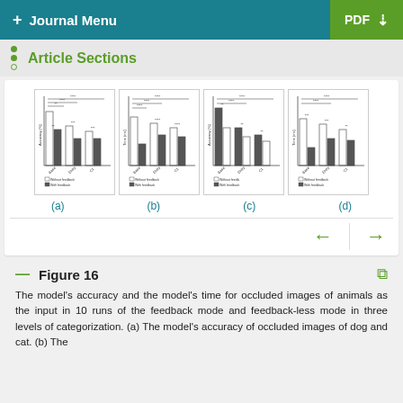+ Journal Menu | PDF ↓
Article Sections
[Figure (grouped-bar-chart): Grouped bar chart showing model accuracy for occluded images with and without feedback, dog and cat category]
[Figure (grouped-bar-chart): Grouped bar chart showing model time for occluded images with and without feedback]
[Figure (grouped-bar-chart): Grouped bar chart showing model accuracy for occluded images with and without feedback]
[Figure (grouped-bar-chart): Grouped bar chart showing model time for occluded images with and without feedback]
(a)
(b)
(c)
(d)
Figure 16
The model's accuracy and the model's time for occluded images of animals as the input in 10 runs of the feedback mode and feedback-less mode in three levels of categorization. (a) The model's accuracy of occluded images of dog and cat. (b) The